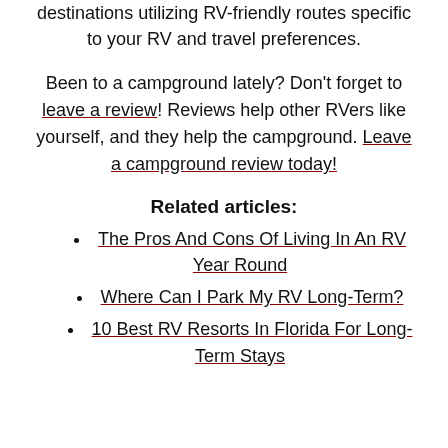destinations utilizing RV-friendly routes specific to your RV and travel preferences.
Been to a campground lately? Don't forget to leave a review! Reviews help other RVers like yourself, and they help the campground. Leave a campground review today!
Related articles:
The Pros And Cons Of Living In An RV Year Round
Where Can I Park My RV Long-Term?
10 Best RV Resorts In Florida For Long-Term Stays